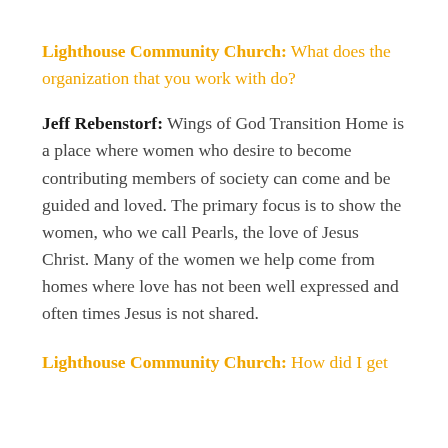Lighthouse Community Church: What does the organization that you work with do?
Jeff Rebenstorf: Wings of God Transition Home is a place where women who desire to become contributing members of society can come and be guided and loved. The primary focus is to show the women, who we call Pearls, the love of Jesus Christ. Many of the women we help come from homes where love has not been well expressed and often times Jesus is not shared.
Lighthouse Community Church: How did I get